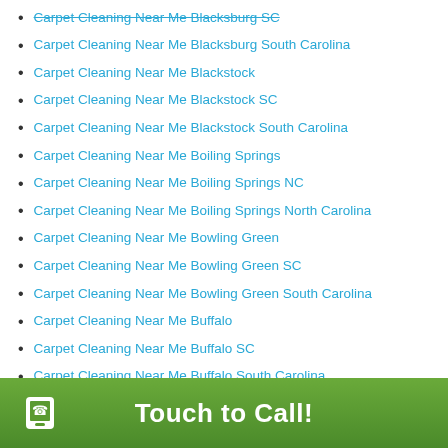Carpet Cleaning Near Me Blacksburg South Carolina
Carpet Cleaning Near Me Blackstock
Carpet Cleaning Near Me Blackstock SC
Carpet Cleaning Near Me Blackstock South Carolina
Carpet Cleaning Near Me Boiling Springs
Carpet Cleaning Near Me Boiling Springs NC
Carpet Cleaning Near Me Boiling Springs North Carolina
Carpet Cleaning Near Me Bowling Green
Carpet Cleaning Near Me Bowling Green SC
Carpet Cleaning Near Me Bowling Green South Carolina
Carpet Cleaning Near Me Buffalo
Carpet Cleaning Near Me Buffalo SC
Carpet Cleaning Near Me Buffalo South Carolina
Carpet Cleaning Near Me Carlisle
Carpet Cleaning Near Me Carlisle SC
Carpet Cleaning Near Me Carlisle South Carolina
Carpet Cleaning Near Me Casar
Touch to Call!